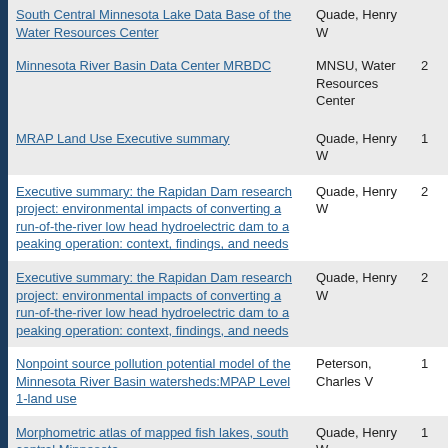| Title | Author | Num |
| --- | --- | --- |
| South Central Minnesota Lake Data Base of the Water Resources Center | Quade, Henry W |  |
| Minnesota River Basin Data Center MRBDC | MNSU, Water Resources Center | 2 |
| MRAP Land Use Executive summary | Quade, Henry W | 1 |
| Executive summary: the Rapidan Dam research project: environmental impacts of converting a run-of-the-river low head hydroelectric dam to a peaking operation: context, findings, and needs | Quade, Henry W | 2 |
| Executive summary: the Rapidan Dam research project: environmental impacts of converting a run-of-the-river low head hydroelectric dam to a peaking operation: context, findings, and needs | Quade, Henry W | 2 |
| Nonpoint source pollution potential model of the Minnesota River Basin watersheds:MPAP Level 1-land use | Peterson, Charles V | 1 |
| Morphometric atlas of mapped fish lakes, south central Minnesota | Quade, Henry W | 1 |